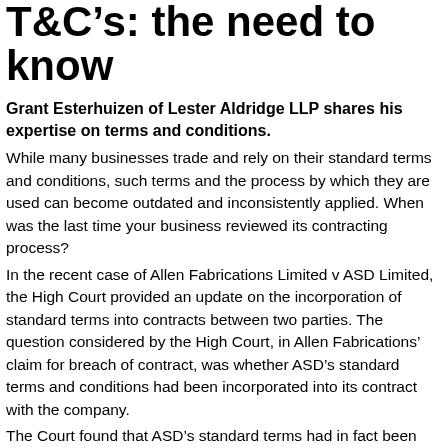T&amp;C’s: the need to know
Grant Esterhuizen of Lester Aldridge LLP shares his expertise on terms and conditions.
While many businesses trade and rely on their standard terms and conditions, such terms and the process by which they are used can become outdated and inconsistently applied. When was the last time your business reviewed its contracting process?
In the recent case of Allen Fabrications Limited v ASD Limited, the High Court provided an update on the incorporation of standard terms into contracts between two parties. The question considered by the High Court, in Allen Fabrications’ claim for breach of contract, was whether ASD’s standard terms and conditions had been incorporated into its contract with the company.
The Court found that ASD’s standard terms had in fact been...